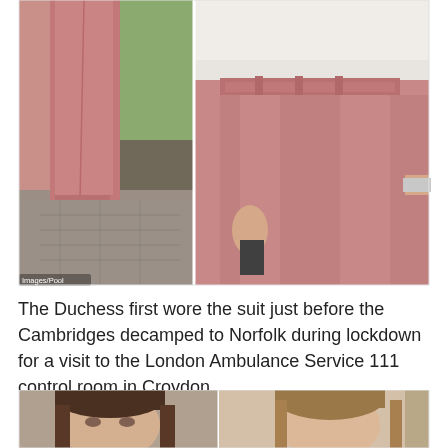[Figure (photo): Two side-by-side photos showing pink/mauve trousers. Left photo shows full-length view of legs wearing pink tapered trousers with white sneakers on cobblestone. Right photo shows close-up of the same or similar pink high-waisted tailored trousers with white top, wristwatch visible. Watermark reads 'Images/Pool'.]
The Duchess first wore the suit just before the Cambridges decamped to Norfolk during lockdown for a visit to the London Ambulance Service 111 control room in Croydon.
[Figure (photo): Two side-by-side photos of a brunette woman (Kate Middleton), partially cropped at the bottom of the page. Left shows her looking down with dark brown hair. Right shows her with lighter/highlighted hair pulled back.]